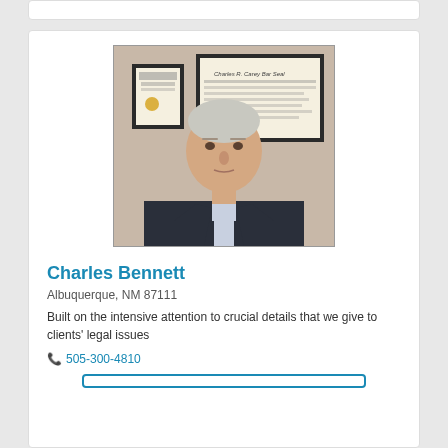[Figure (photo): Portrait photo of attorney Charles Bennett in a dark suit and red tie, seated in front of framed certificates on a wall]
Charles Bennett
Albuquerque, NM 87111
Built on the intensive attention to crucial details that we give to clients' legal issues
505-300-4810